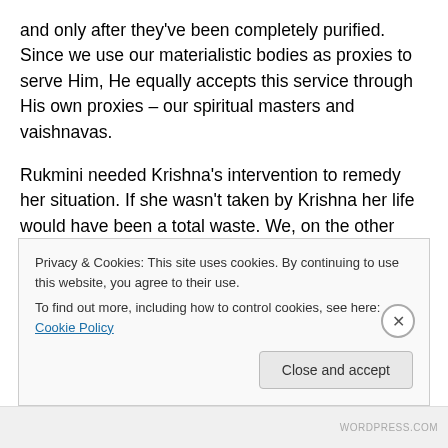and only after they've been completely purified. Since we use our materialistic bodies as proxies to serve Him, He equally accepts this service through His own proxies – our spiritual masters and vaishnavas.
Rukmini needed Krishna's intervention to remedy her situation. If she wasn't taken by Krishna her life would have been a total waste. We, on the other hand, already got what we need – the grace of Lord Chaitanya and service to His mission. We do not need any more protection, no one in the entire universe can lay claims on
Privacy & Cookies: This site uses cookies. By continuing to use this website, you agree to their use.
To find out more, including how to control cookies, see here: Cookie Policy
Close and accept